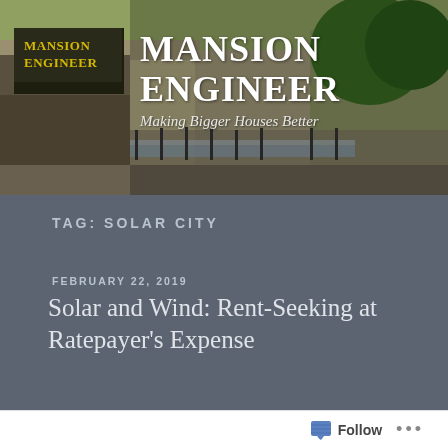[Figure (photo): Header photo of a modern building exterior with trees and cars, with dark overlay. Shows the Mansion Engineer blog header.]
MANSION ENGINEER
Making Bigger Houses Better
TAG: SOLAR CITY
FEBRUARY 22, 2019
Solar and Wind: Rent-Seeking at Ratepayer's Expense
[Figure (photo): Photo of a bridge with power transmission towers/pylons in the background against a pale sky.]
Follow ...